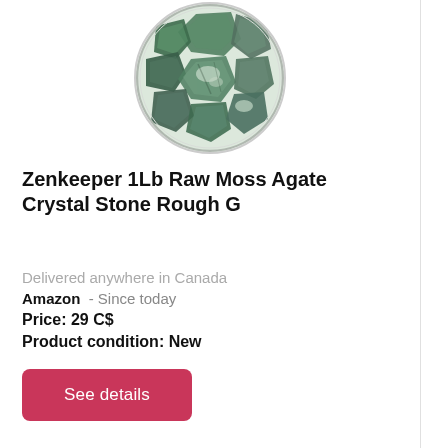[Figure (photo): Circular bowl filled with rough green moss agate crystal stones, viewed from above, on a white background.]
Zenkeeper 1Lb Raw Moss Agate Crystal Stone Rough G
Delivered anywhere in Canada
Amazon  - Since today
Price: 29 C$
Product condition: New
See details